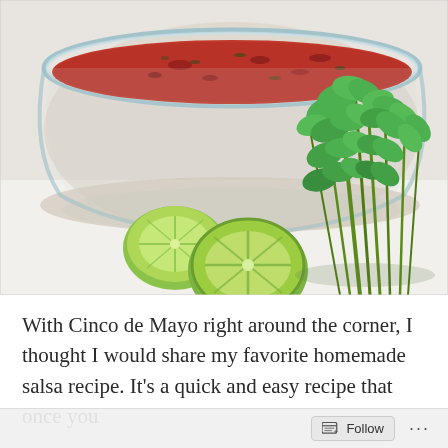[Figure (photo): A glass bowl filled with red chunky salsa, surrounded by two halved limes and a bunch of fresh cilantro, on a white background.]
With Cinco de Mayo right around the corner, I thought I would share my favorite homemade salsa recipe. It's a quick and easy recipe that once you
Follow ...